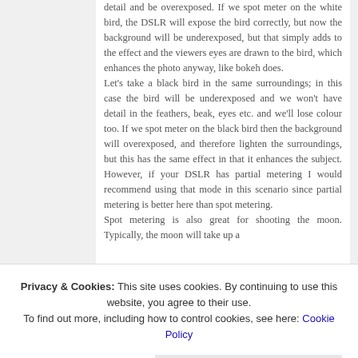detail and be overexposed. If we spot meter on the white bird, the DSLR will expose the bird correctly, but now the background will be underexposed, but that simply adds to the effect and the viewers eyes are drawn to the bird, which enhances the photo anyway, like bokeh does. Let's take a black bird in the same surroundings; in this case the bird will be underexposed and we won't have detail in the feathers, beak, eyes etc. and we'll lose colour too. If we spot meter on the black bird then the background will overexposed, and therefore lighten the surroundings, but this has the same effect in that it enhances the subject. However, if your DSLR has partial metering I would recommend using that mode in this scenario since partial metering is better here than spot metering. Spot metering is also great for shooting the moon. Typically the moon will take up a
Privacy & Cookies: This site uses cookies. By continuing to use this website, you agree to their use. To find out more, including how to control cookies, see here: Cookie Policy
the skin colour correctly and not take a reading from the stage or restaurant lights.